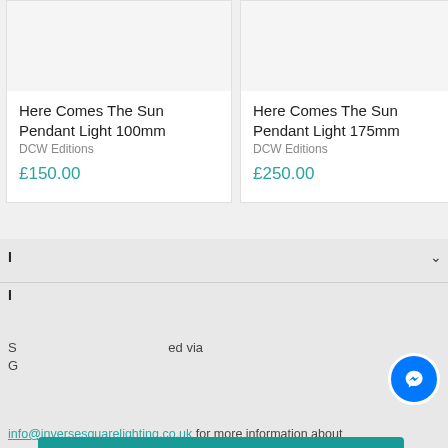[Figure (photo): Product image placeholder for Here Comes The Sun Pendant Light 100mm]
Here Comes The Sun Pendant Light 100mm
DCW Editions
£150.00
[Figure (photo): Product image placeholder for Here Comes The Sun Pendant Light 175mm]
Here Comes The Sun Pendant Light 175mm
DCW Editions
£250.00
This website uses cookies to ensure you get the best experience. By proceeding, you agree to our use of cookies.
Learn more
Accept
info@inversesquarelighting.co.uk for more information about